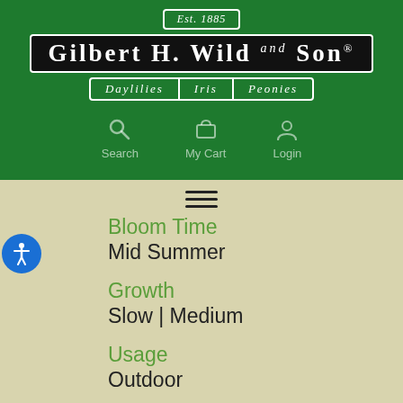Est. 1885 — Gilbert H. Wild and Son® — Daylilies | Iris | Peonies
[Figure (logo): Gilbert H. Wild and Son logo with Est. 1885, dark banner with white serif text, sub-banner showing Daylilies, Iris, Peonies on green background]
Search   My Cart   Login
☰ (hamburger menu icon)
Bloom Time
Mid Summer
Growth
Slow | Medium
Usage
Outdoor